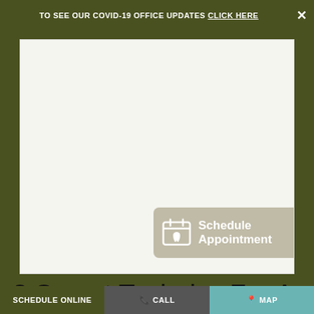TO SEE OUR COVID-19 OFFICE UPDATES CLICK HERE ✕
[Figure (photo): Large white/light gray rectangular image placeholder area with an olive/dark green background border. A 'Schedule Appointment' button with a calendar-tooth icon is overlaid at the bottom right of the image.]
8 Secret Technics For A New Smile With The Help
SCHEDULE ONLINE   📞 CALL   📍 Map